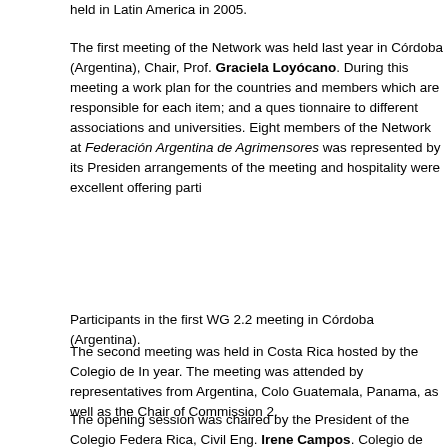held in Latin America in 2005.
The first meeting of the Network was held last year in Córdoba (Argentina), Chair, Prof. Graciela Loyócano. During this meeting a work plan for the countries and members which are responsible for each item; and a questionnaire to different associations and universities. Eight members of the Network attended. Federación Argentina de Agrimensores was represented by its President. The arrangements of the meeting and hospitality were excellent offering participants...
Participants in the first WG 2.2 meeting in Córdoba (Argentina).
The second meeting was held in Costa Rica hosted by the Colegio de Ingenieros Topógrafos this year. The meeting was attended by representatives from Argentina, Colombia, Costa Rica, Guatemala, Panama, as well as the Chair of Commission 2.
The opening session was chaired by the President of the Colegio Federal de Costa Rica, Civil Eng. Irene Campos. Colegio de Ingenieros Topógrafos is a...